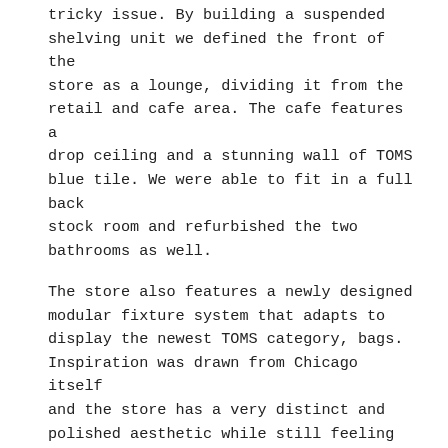tricky issue. By building a suspended shelving unit we defined the front of the store as a lounge, dividing it from the retail and cafe area. The cafe features a drop ceiling and a stunning wall of TOMS blue tile. We were able to fit in a full back stock room and refurbished the two bathrooms as well.
The store also features a newly designed modular fixture system that adapts to display the newest TOMS category, bags. Inspiration was drawn from Chicago itself and the store has a very distinct and polished aesthetic while still feeling eclectic and globally inspired like TOMS.
Role: Visual Merchandising Manager
Responsibilities:
Design of entire retail space, fixtures,